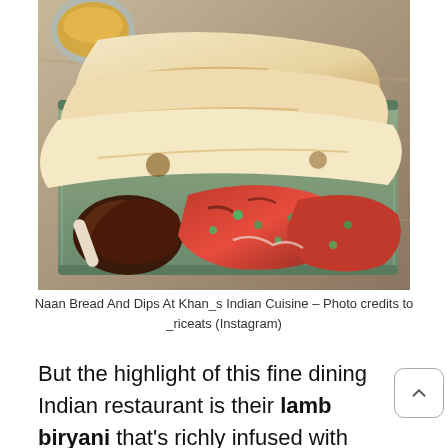[Figure (photo): A plate of tandoori chicken pieces garnished with cilantro, alongside several naan breads stacked on a green rectangular plate. A small metal bowl is visible in the background. Photographed from slightly above on a wooden table surface.]
Naan Bread And Dips At Khan_s Indian Cuisine – Photo credits to _riceats (Instagram)
But the highlight of this fine dining Indian restaurant is their lamb biryani that's richly infused with aromatic spices. The butter chicken is also a safe choice if you don't know what to order.